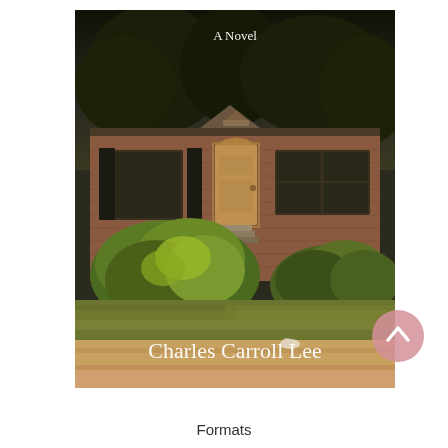[Figure (photo): Book cover image showing a brick ranch house with overgrown shrubbery in the front yard, dark trees in background. Text on cover reads 'A Novel' at top in white serif font, and 'Charles Carroll Lee' at bottom in white serif font.]
Formats